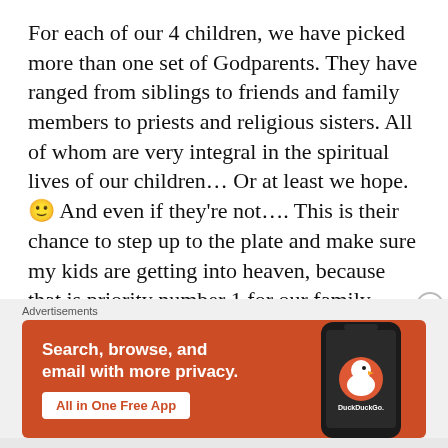For each of our 4 children, we have picked more than one set of Godparents. They have ranged from siblings to friends and family members to priests and religious sisters. All of whom are very integral in the spiritual lives of our children… Or at least we hope. 🙂 And even if they're not…. This is their chance to step up to the plate and make sure my kids are getting into heaven, because that is priority number 1 for our family.
So here are a few things to know before you pick your child's next Godparents. Please keep in mind that these points are considered the bare
[Figure (other): DuckDuckGo advertisement banner with orange background. Text: 'Search, browse, and email with more privacy. All in One Free App' with DuckDuckGo logo and phone image.]